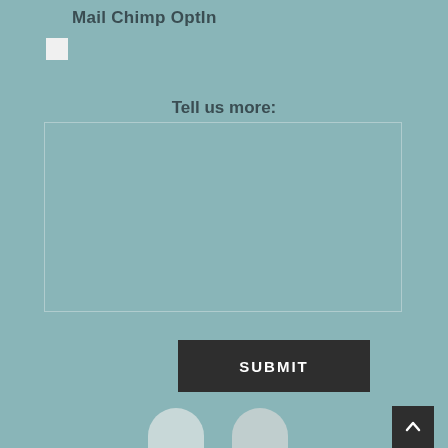Mail Chimp OptIn
[Figure (other): Unchecked checkbox input element]
Tell us more:
[Figure (other): Empty textarea input box with border]
[Figure (other): Dark SUBMIT button]
[Figure (other): Dark back-to-top arrow button in bottom right corner]
[Figure (other): Two partial social media icon circles at bottom]